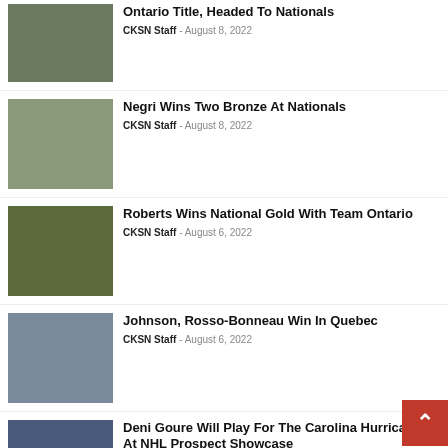[Figure (photo): Group photo of sports team]
Ontario Title, Headed To Nationals
CKSN Staff - August 8, 2022
[Figure (photo): Person wearing medals]
Negri Wins Two Bronze At Nationals
CKSN Staff - August 8, 2022
[Figure (photo): Basketball team celebrating with flag]
Roberts Wins National Gold With Team Ontario
CKSN Staff - August 6, 2022
[Figure (photo): Beach volleyball players]
Johnson, Rosso-Bonneau Win In Quebec
CKSN Staff - August 6, 2022
[Figure (photo): Hockey player on ice]
Deni Goure Will Play For The Carolina Hurricanes At NHL Prospect Showcase
CKSN Staff